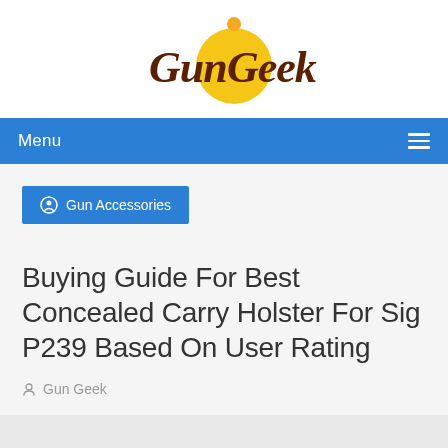[Figure (logo): Gun Geek logo with yellow circle and brown cursive text on white background]
Menu
Gun Accessories
Buying Guide For Best Concealed Carry Holster For Sig P239 Based On User Rating
Gun Geek